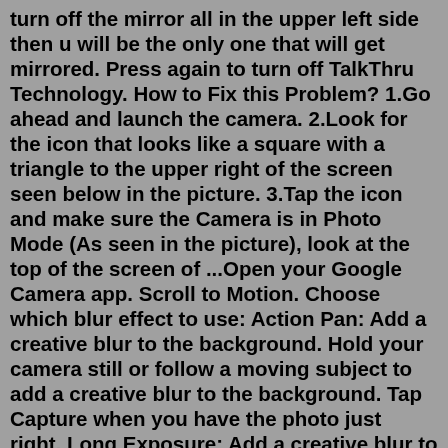turn off the mirror all in the upper left side then u will be the only one that will get mirrored. Press again to turn off TalkThru Technology. How to Fix this Problem? 1.Go ahead and launch the camera. 2.Look for the icon that looks like a square with a triangle to the upper right of the screen seen below in the picture. 3.Tap the icon and make sure the Camera is in Photo Mode (As seen in the picture), look at the top of the screen of ...Open your Google Camera app. Scroll to Motion. Choose which blur effect to use: Action Pan: Add a creative blur to the background. Hold your camera still or follow a moving subject to add a creative blur to the background. Tap Capture when you have the photo just right. Long Exposure: Add a creative blur to a moving subject. Galaxy S10 Series @KeithRyain @Almost_famous: Sorry to hear of your disappointment. As an alternative, if you open the Camera app, tap the cog symbol in the top left and select Hold Shutter Button To > Take Burst Shot, this will capture a series of shots in quick succession, allowing you pick the best of the bunch. 0